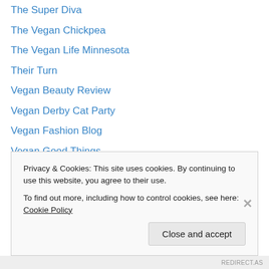The Super Diva
The Vegan Chickpea
The Vegan Life Minnesota
Their Turn
Vegan Beauty Review
Vegan Derby Cat Party
Vegan Fashion Blog
Vegan Good Things
Vegan Mademoiselle
Vegansaurus
Veggie Nook
Veggywood
Vegtastic
Privacy & Cookies: This site uses cookies. By continuing to use this website, you agree to their use. To find out more, including how to control cookies, see here: Cookie Policy
REDIRECT.AS